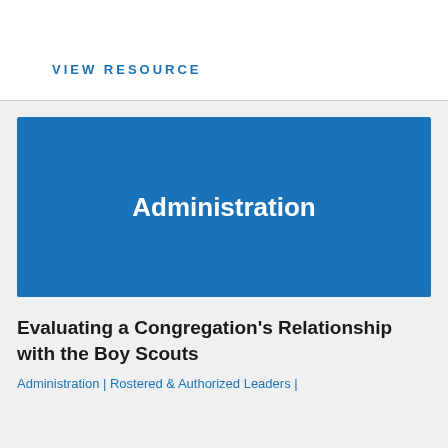VIEW RESOURCE
[Figure (illustration): Blue banner image with white bold text reading 'Administration']
Evaluating a Congregation's Relationship with the Boy Scouts
Administration | Rostered & Authorized Leaders |